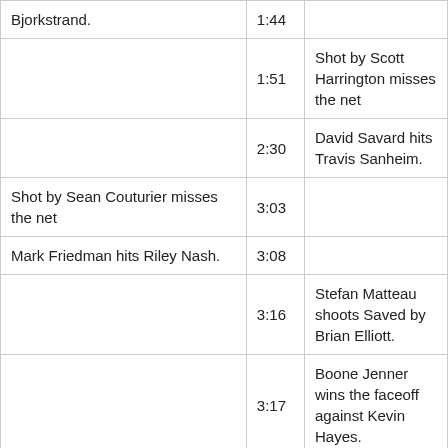| Home Team Event | Time | Away Team Event |
| --- | --- | --- |
| Bjorkstrand. | 1:44 |  |
|  | 1:51 | Shot by Scott Harrington misses the net |
|  | 2:30 | David Savard hits Travis Sanheim. |
| Shot by Sean Couturier misses the net | 3:03 |  |
| Mark Friedman hits Riley Nash. | 3:08 |  |
|  | 3:16 | Stefan Matteau shoots Saved by Brian Elliott. |
|  | 3:17 | Boone Jenner wins the faceoff against Kevin Hayes. |
| Kevin Hayes hits Stefan Matteau. | 3:31 |  |
|  |  | Stefan Matteau scores. |